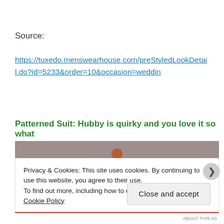Source:
https://tuxedo.menswearhouse.com/preStyledLookDetail.do?id=5233&order=10&occasion=weddin
Patterned Suit: Hubby is quirky and you love it so what
[Figure (photo): Partial photo of a person in a patterned suit, partially obscured by cookie consent banner]
Privacy & Cookies: This site uses cookies. By continuing to use this website, you agree to their use.
To find out more, including how to control cookies, see here:
Cookie Policy
Close and accept